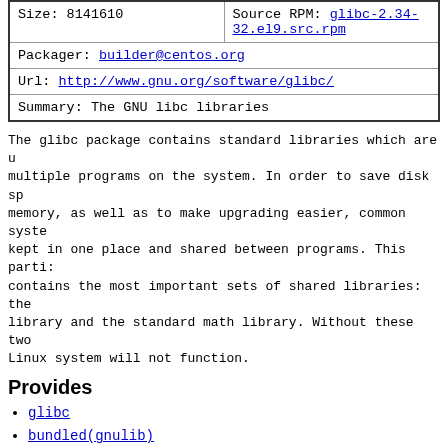| Size: 8141610 | Source RPM: glibc-2.34-32.el9.src.rpm |
| Packager: builder@centos.org |  |
| Url: http://www.gnu.org/software/glibc/ |  |
| Summary: The GNU libc libraries |  |
The glibc package contains standard libraries which are used by multiple programs on the system. In order to save disk space and memory, as well as to make upgrading easier, common system code is kept in one place and shared between programs. This particular package contains the most important sets of shared libraries: the standard C library and the standard math library. Without these two libraries, a Linux system will not function.
Provides
glibc
bundled(gnulib)
config(glibc)
glibc(ppc-64)
ld64.so.2()(64bit)
ld64.so.2(GLIBC_2.17)(64bit)
ld64.so.2(GLIBC_2.22)(64bit)
ld64.so.2(GLIBC_2.23)(64bit)